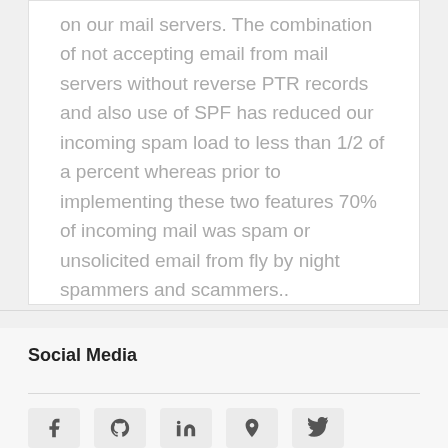on our mail servers. The combination of not accepting email from mail servers without reverse PTR records and also use of SPF has reduced our incoming spam load to less than 1/2 of a percent whereas prior to implementing these two features 70% of incoming mail was spam or unsolicited email from fly by night spammers and scammers..
Social Media